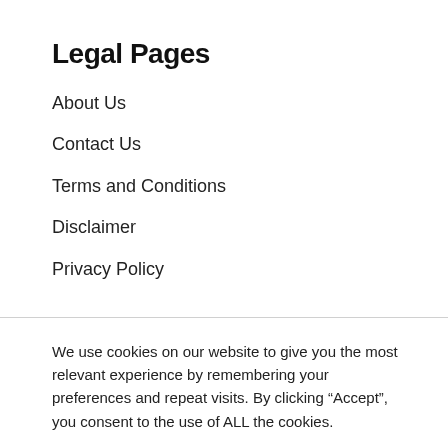Legal Pages
About Us
Contact Us
Terms and Conditions
Disclaimer
Privacy Policy
We use cookies on our website to give you the most relevant experience by remembering your preferences and repeat visits. By clicking “Accept”, you consent to the use of ALL the cookies.
Cookie settings  ACCEPT